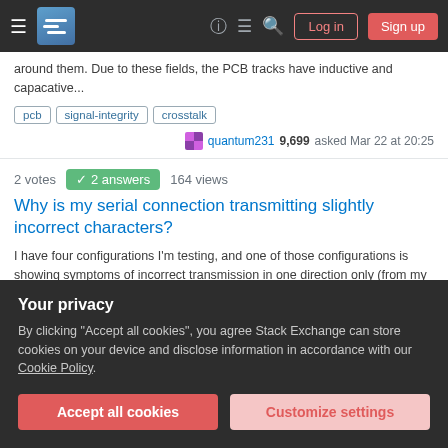Stack Exchange navigation bar with hamburger menu, logo, question mark icon, chat icon, search icon, Log in button, Sign up button
around them. Due to these fields, the PCB tracks have inductive and capacative...
pcb  signal-integrity  crosstalk
quantum231  9,699  asked Mar 22 at 20:25
2 votes  ✓ 2 answers  164 views
Why is my serial connection transmitting slightly incorrect characters?
I have four configurations I'm testing, and one of those configurations is showing symptoms of incorrect transmission in one direction only (from my laptop terminal t...
usb  serial  rs232  signal-integrity  crosstalk
Your privacy
By clicking "Accept all cookies", you agree Stack Exchange can store cookies on your device and disclose information in accordance with our Cookie Policy.
Accept all cookies  Customize settings
pcb-design  analog  pwm  crosstalk